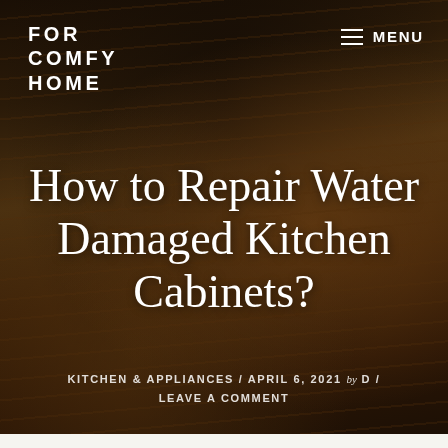FOR COMFY HOME
MENU
How to Repair Water Damaged Kitchen Cabinets?
KITCHEN & APPLIANCES / APRIL 6, 2021 by D / LEAVE A COMMENT
[Figure (photo): Water damaged wooden kitchen cabinet base, showing warped and deteriorating wood with debris and mold on the floor around the base]